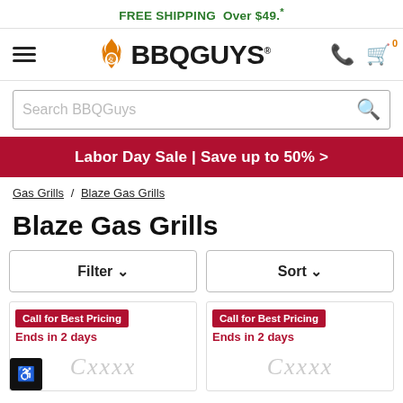FREE SHIPPING Over $49.*
[Figure (logo): BBQGuys logo with flame icon]
Search BBQGuys
Labor Day Sale | Save up to 50% >
Gas Grills / Blaze Gas Grills
Blaze Gas Grills
Filter ∨
Sort ∨
Call for Best Pricing
Ends in 2 days
Call for Best Pricing
Ends in 2 days